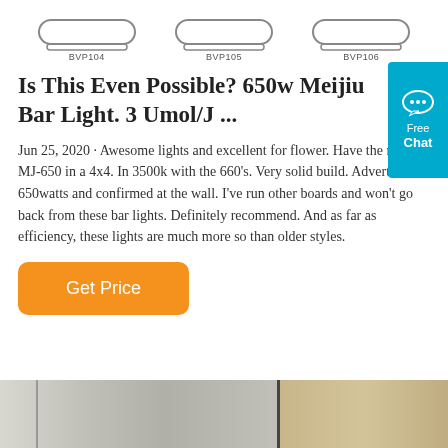[Figure (illustration): Three product shapes (rounded rectangle outlines) labeled BVP104, BVP105, BVP106 from left to right, shown at top of page.]
Is This Even Possible? 650w Meijiu Bar Light. 3 Umol/J ...
Jun 25, 2020 · Awesome lights and excellent for flower. Have the new MJ-650 in a 4x4. In 3500k with the 660's. Very solid build. Advertised as 650watts and confirmed at the wall. I've run other boards and won't go back from these bar lights. Definitely recommend. And as far as efficiency, these lights are much more so than older styles.
[Figure (other): Orange rounded rectangle 'Get Price' button]
[Figure (photo): Bottom portion showing what appears to be wood-grain panels or cabinets — grey/silver on left and tan/brown wood on right, separated by a dark vertical divider.]